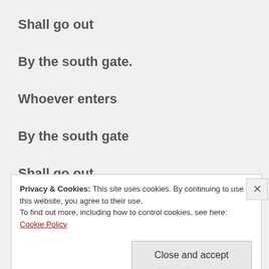Shall go out
By the south gate.
Whoever enters
By the south gate
Shall go out
Privacy & Cookies: This site uses cookies. By continuing to use this website, you agree to their use.
To find out more, including how to control cookies, see here: Cookie Policy